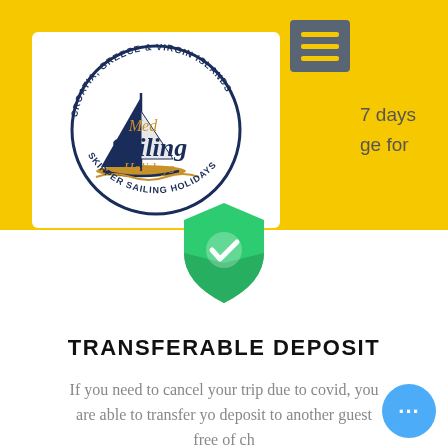[Figure (logo): Med Sailing Holidays logo — circular badge with sailboat illustration, text 'CROATIA, GREECE & VIRGIN ISLANDS' around top arc and 'SKIPPER SAILING HOLIDAYS' around bottom arc, 'Med Sailing Holidays' script text in center. Yellow background header with hamburger menu button top right.]
7 days
ge for
[Figure (illustration): Green shield icon with white checkmark in center]
TRANSFERABLE DEPOSIT
If you need to cancel your trip due to covid, you are able to transfer yo deposit to another guest free of ch